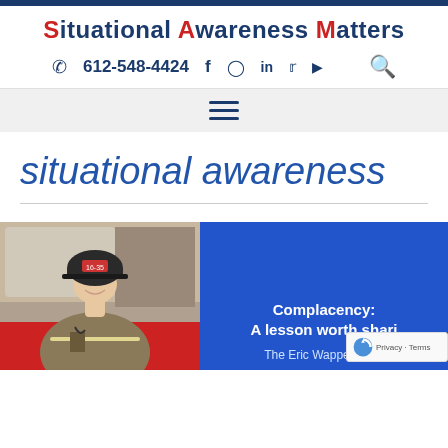Situational Awareness Matters
612-548-4424
[Figure (screenshot): Navigation hamburger menu icon (three horizontal lines)]
situational awareness
[Figure (photo): Firefighter in full gear including helmet numbered 16-35, sitting inside a fire truck, smiling at the camera]
Complacency: A lesson worth shari... The Eric Wappel Story